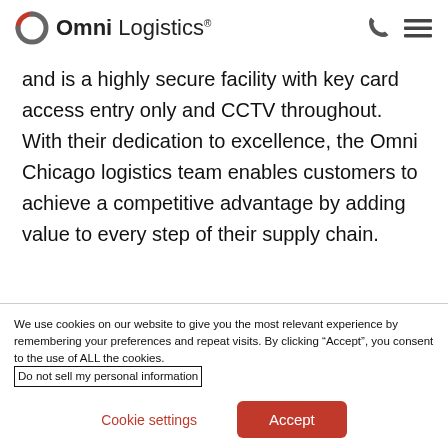Omni Logistics
and is a highly secure facility with key card access entry only and CCTV throughout. With their dedication to excellence, the Omni Chicago logistics team enables customers to achieve a competitive advantage by adding value to every step of their supply chain.
We use cookies on our website to give you the most relevant experience by remembering your preferences and repeat visits. By clicking “Accept”, you consent to the use of ALL the cookies. Do not sell my personal information
Cookie settings
Accept